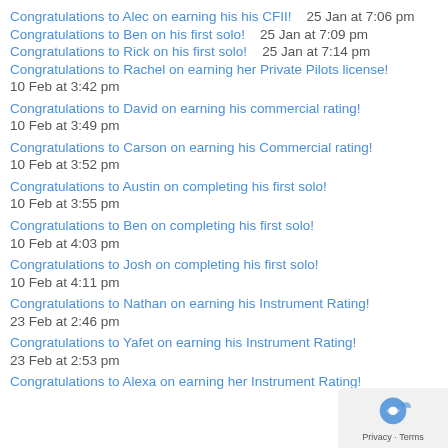Congratulations to Alec on earning his his CFII!    25 Jan at 7:06 pm
Congratulations to Ben on his first solo!    25 Jan at 7:09 pm
Congratulations to Rick on his first solo!    25 Jan at 7:14 pm
Congratulations to Rachel on earning her Private Pilots license!
10 Feb at 3:42 pm
Congratulations to David on earning his commercial rating!
10 Feb at 3:49 pm
Congratulations to Carson on earning his Commercial rating!
10 Feb at 3:52 pm
Congratulations to Austin on completing his first solo!
10 Feb at 3:55 pm
Congratulations to Ben on completing his first solo!
10 Feb at 4:03 pm
Congratulations to Josh on completing his first solo!
10 Feb at 4:11 pm
Congratulations to Nathan on earning his Instrument Rating!
23 Feb at 2:46 pm
Congratulations to Yafet on earning his Instrument Rating!
23 Feb at 2:53 pm
Congratulations to Alexa on earning her Instrument Rating!